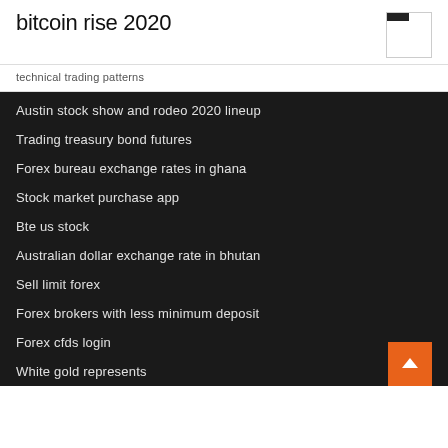bitcoin rise 2020
technical trading patterns
Austin stock show and rodeo 2020 lineup
Trading treasury bond futures
Forex bureau exchange rates in ghana
Stock market purchase app
Bte us stock
Australian dollar exchange rate in bhutan
Sell limit forex
Forex brokers with less minimum deposit
Forex cfds login
White gold represents